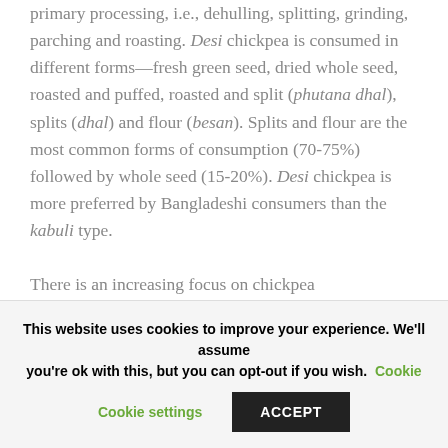primary processing, i.e., dehulling, splitting, grinding, parching and roasting. Desi chickpea is consumed in different forms—fresh green seed, dried whole seed, roasted and puffed, roasted and split (phutana dhal), splits (dhal) and flour (besan). Splits and flour are the most common forms of consumption (70-75%) followed by whole seed (15-20%). Desi chickpea is more preferred by Bangladeshi consumers than the kabuli type.

There is an increasing focus on chickpea
This website uses cookies to improve your experience. We'll assume you're ok with this, but you can opt-out if you wish. Cookie settings ACCEPT